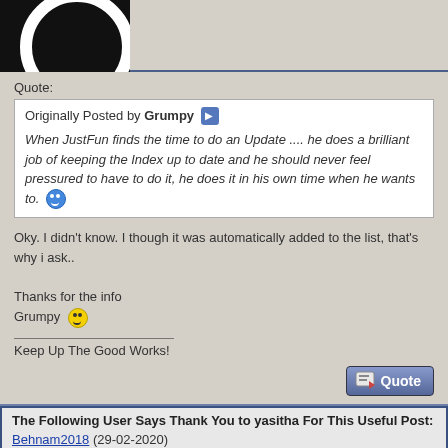[Figure (photo): Black avatar image with white circular arc/letter visible at top]
Quote:
Originally Posted by Grumpy
When JustFun finds the time to do an Update .... he does a brilliant job of keeping the Index up to date and he should never feel pressured to have to do it, he does it in his own time when he wants to.
Oky. I didn't know. I though it was automatically added to the list, that's why i ask..
Thanks for the info
Grumpy
__________________
Keep Up The Good Works!
The Following User Says Thank You to yasitha For This Useful Post:
Behnam2018 (29-02-2020)
04-01-2019, 08:16
[Figure (photo): Black avatar image with white circular arc visible at bottom]